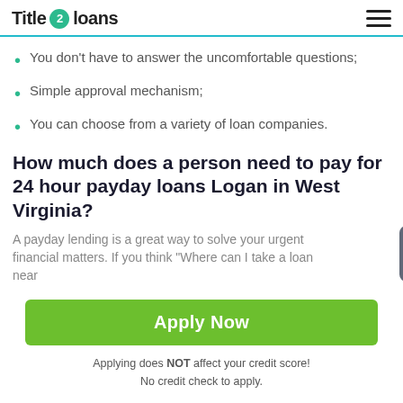Title 2 loans
You don't have to answer the uncomfortable questions;
Simple approval mechanism;
You can choose from a variety of loan companies.
How much does a person need to pay for 24 hour payday loans Logan in West Virginia?
A payday lending is a great way to solve your urgent financial matters. If you think "Where can I take a loan near
Apply Now
Applying does NOT affect your credit score!
No credit check to apply.